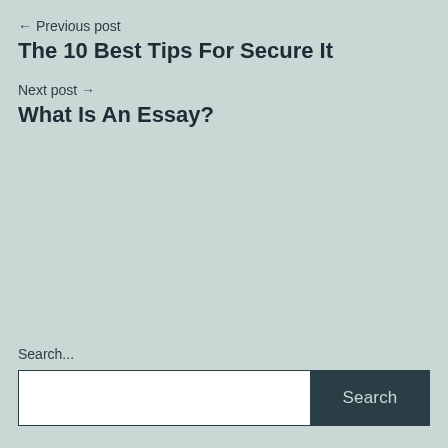← Previous post
The 10 Best Tips For Secure It
Next post →
What Is An Essay?
Search...
Search